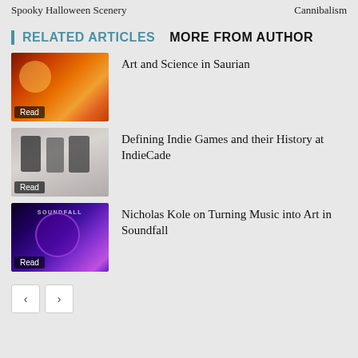Spooky Halloween Scenery    Cannibalism
RELATED ARTICLES   MORE FROM AUTHOR
[Figure (photo): Thumbnail image of fiery/orange dinosaur art for Saurian article]
Art and Science in Saurian
[Figure (photo): Thumbnail image of pixel-art indie game characters for IndieCade article]
Defining Indie Games and their History at IndieCade
[Figure (photo): Thumbnail image with purple/blue psychedelic art for Soundfall article, with SOUNDFALL logo]
Nicholas Kole on Turning Music into Art in Soundfall